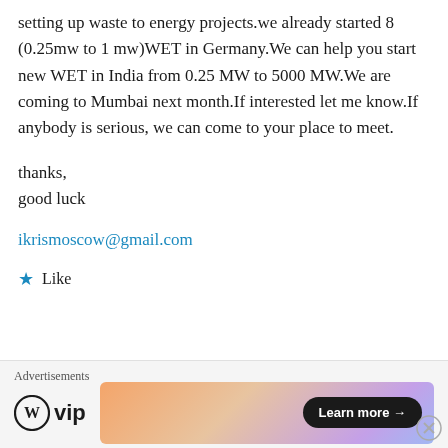setting up waste to energy projects.we already started 8 (0.25mw to 1 mw)WET in Germany.We can help you start new WET in India from 0.25 MW to 5000 MW.We are coming to Mumbai next month.If interested let me know.If anybody is serious, we can come to your place to meet.
thanks,
good luck
ikrismoscow@gmail.com
★ Like
Advertisements
[Figure (logo): WordPress VIP logo and advertisement banner with Learn more button]